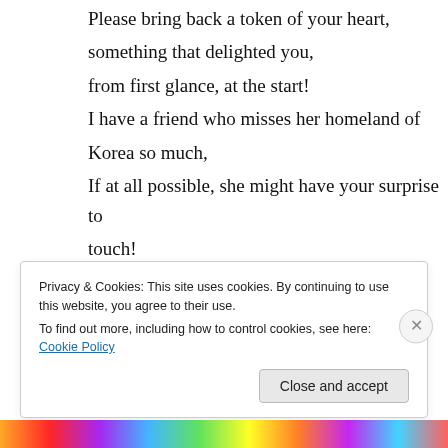Please bring back a token of your heart,
something that delighted you,
from first glance, at the start!
I have a friend who misses her homeland of Korea so much,
If at all possible, she might have your surprise to touch!
★ Like
↪ Reply
Privacy & Cookies: This site uses cookies. By continuing to use this website, you agree to their use.
To find out more, including how to control cookies, see here: Cookie Policy